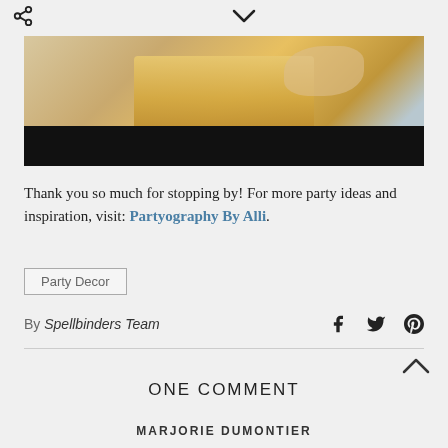[Figure (photo): Partial photo of a hand holding a yellow/orange decorative item, with a black bar at the bottom of the image. Navigation icons (share and chevron down) appear above the image.]
Thank you so much for stopping by! For more party ideas and inspiration, visit: Partyography By Alli.
Party Decor
By Spellbinders Team
ONE COMMENT
MARJORIE DUMONTIER